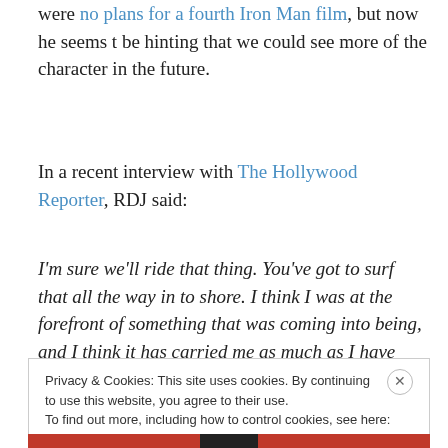were no plans for a fourth Iron Man film, but now he seems t be hinting that we could see more of the character in the future.
In a recent interview with The Hollywood Reporter, RDJ said:
I'm sure we'll ride that thing. You've got to surf that all the way in to shore. I think I was at the forefront of something that was coming into being, and I think it has carried me as much as I have informed it.
Privacy & Cookies: This site uses cookies. By continuing to use this website, you agree to their use. To find out more, including how to control cookies, see here: Cookie Policy